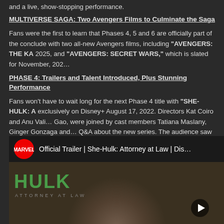and a live, show-stopping performance.
MULTIVERSE SAGA: Two Avengers Films to Culminate the Saga
Fans were the first to learn that Phases 4, 5 and 6 are officially part of the conclude with two all-new Avengers films, including "AVENGERS: THE KA 2025, and "AVENGERS: SECRET WARS," which is slated for November, 202…
PHASE 4: Trailers and Talent Introduced, Plus Stunning Performance
Fans won't have to wait long for the next Phase 4 title with "SHE-HULK: A exclusively on Disney+ August 17, 2022. Directors Kat Coiro and Anu Vali… Gao, were joined by cast members Tatiana Maslany, Ginger Gonzaga and… Q&A about the new series. The audience saw a new trailer, which is also a share now.
[Figure (screenshot): YouTube video thumbnail for 'Official Trailer | She-Hulk: Attorney at Law | Disney+' with Marvel logo, showing the She-Hulk title text and a face in the thumbnail, with a YouTube play button.]